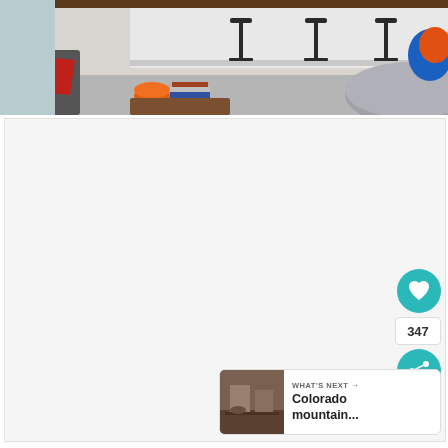[Figure (photo): Interior photo of a modern kitchen/dining area with black bar stools at a counter, red transparent chairs, a round gray table, and colorful bowls. Light gray walls, concrete floor.]
[Figure (screenshot): UI overlay showing a teal heart/like button, a count of 347, a teal share button, and a 'What's Next' card showing a thumbnail of an interior room with text 'Colorado mountain...']